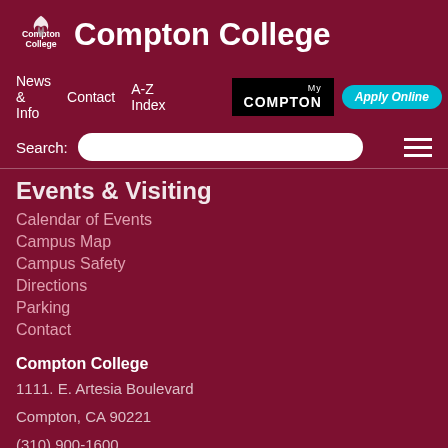Compton College
News & Info  Contact  A-Z Index
Search:
Events & Visiting
Calendar of Events
Campus Map
Campus Safety
Directions
Parking
Contact
Compton College
1111. E. Artesia Boulevard
Compton, CA 90221
(310) 900-1600
Select Language  |  Back to top